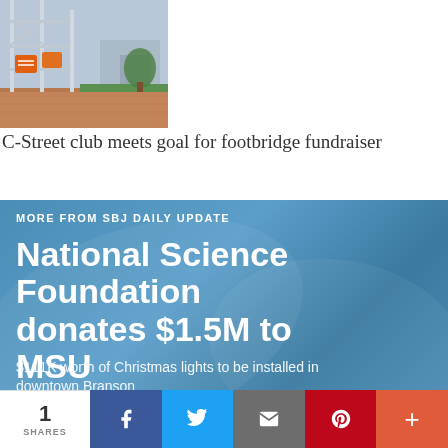[Figure (photo): Outdoor photo showing scaffolding or bridge structure with orange signs, brick pavement, and city infrastructure in background]
C-Street club meets goal for footbridge fundraiser
MORE FROM SBJ DAILY UPDATE
National Science Foundation donates $1.5M to MSU
$111K worth of Christmas lights to be installed in downtown Branson
Springfield metro unemployment rate climbs
1 SHARES  [Facebook] [Twitter] [Email] [Pinterest] [More]